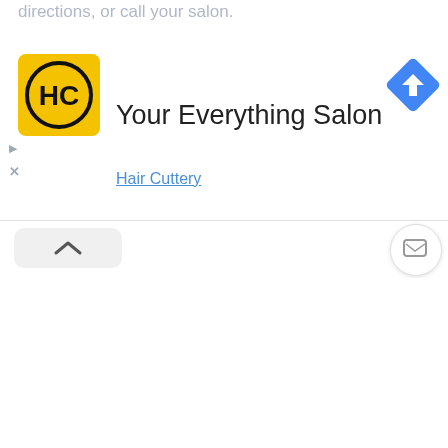directions, or call your salon.
[Figure (logo): Hair Cuttery HC logo — yellow square with black circular border and HC letters]
Your Everything Salon
Hair Cuttery
[Figure (other): Blue diamond navigation/directions arrow icon]
[Figure (other): Chevron up caret button panel]
[Figure (other): Message/chat bubble icon button]
[Figure (screenshot): White map area content region]
[Figure (other): X close button on bottom card]